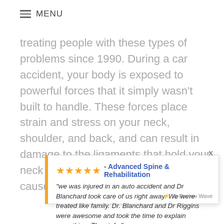MENU
treating people with these types of problems since 1990. During a car accident, your body is exposed to powerful forces that it simply wasn't built to handle. These forces place strain and stress on your neck, shoulder, and back, and can result in damage to the ligaments that hold your neck and back together. A collision can cause a wide range of p... A... s... h... o...
[Figure (other): Review popup widget with 5-star rating from Advanced Spine & Rehabilitation. Quote: 'we was injured in an auto accident and Dr Blanchard took care of us right away. We were treated like family. Dr. Blanchard and Dr Riggins were awesome and took the time to explain everything. The staf...' — Chrystal Lee, in the last 2 weeks. Powered by Review Wave.]